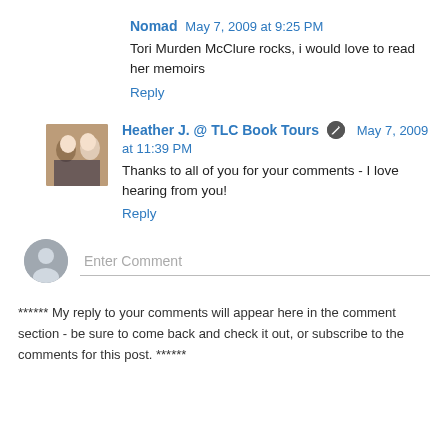Nomad May 7, 2009 at 9:25 PM
Tori Murden McClure rocks, i would love to read her memoirs
Reply
Heather J. @ TLC Book Tours May 7, 2009 at 11:39 PM
Thanks to all of you for your comments - I love hearing from you!
Reply
Enter Comment
****** My reply to your comments will appear here in the comment section - be sure to come back and check it out, or subscribe to the comments for this post. ******